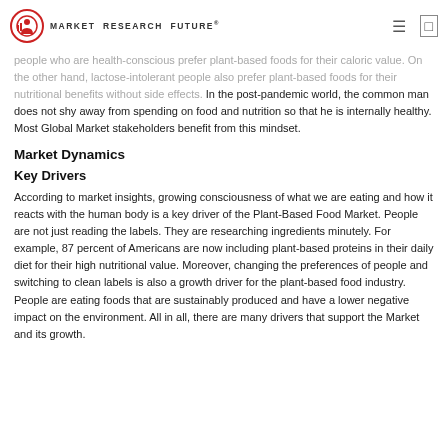MARKET RESEARCH FUTURE
people who are health-conscious prefer plant-based foods for their caloric value. On the other hand, lactose-intolerant people also prefer plant-based foods for their nutritional benefits without side effects. In the post-pandemic world, the common man does not shy away from spending on food and nutrition so that he is internally healthy. Most Global Market stakeholders benefit from this mindset.
Market Dynamics
Key Drivers
According to market insights, growing consciousness of what we are eating and how it reacts with the human body is a key driver of the Plant-Based Food Market. People are not just reading the labels. They are researching ingredients minutely. For example, 87 percent of Americans are now including plant-based proteins in their daily diet for their high nutritional value. Moreover, changing the preferences of people and switching to clean labels is also a growth driver for the plant-based food industry. People are eating foods that are sustainably produced and have a lower negative impact on the environment. All in all, there are many drivers that support the Market and its growth.